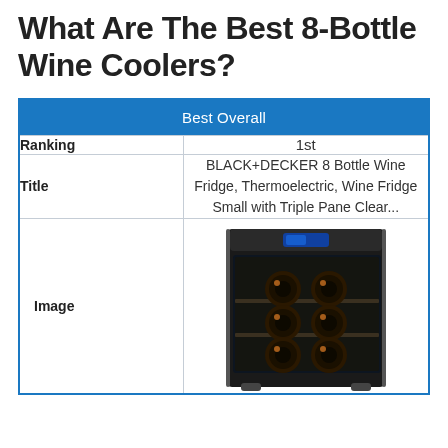What Are The Best 8-Bottle Wine Coolers?
| Best Overall |
| --- |
| Ranking | 1st |
| Title | BLACK+DECKER 8 Bottle Wine Fridge, Thermoelectric, Wine Fridge Small with Triple Pane Clear... |
| Image | [wine cooler product image] |